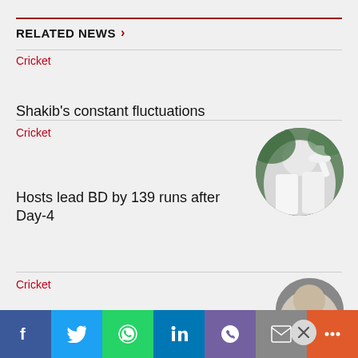RELATED NEWS >
Cricket
Shakib's constant fluctuations
Cricket
Hosts lead BD by 139 runs after Day-4
[Figure (photo): Circular thumbnail of cricket players in white uniforms with arms raised]
Cricket
[Figure (photo): Partial circular thumbnail visible at bottom right]
f  Twitter  WhatsApp  in  Viber  Email  +